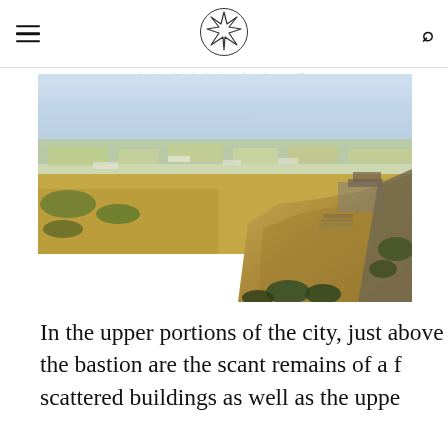interior of the bastion from above the acropolis
[Figure (photo): Aerial view from a rocky acropolis or hilltop fortification looking out over a wide valley landscape with scattered fields, agricultural land, and distant haze. Rocky cliff edge and ancient stone wall remnants visible in the foreground right.]
In the upper portions of the city, just above the bastion are the scant remains of a f scattered buildings as well as the uppe